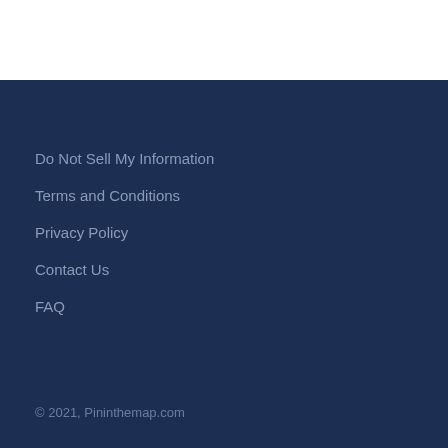Do Not Sell My Information
Terms and Conditions
Privacy Policy
Contact Us
FAQ
© 2021, Pininthemap.com